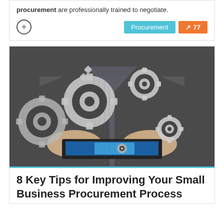procurement are professionally trained to negotiate.
[Figure (illustration): Business person in suit holding a tablet with floating gear/cog icons above it, representing business process automation or procurement systems.]
8 Key Tips for Improving Your Small Business Procurement Process